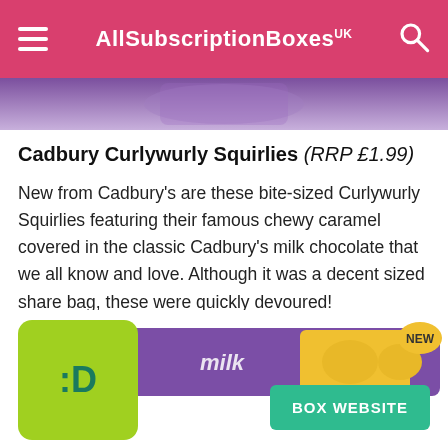AllSubscriptionBoxes UK
[Figure (photo): Partial image of purple Cadbury product packaging visible at top of page]
Cadbury Curlywurly Squirlies (RRP £1.99)
New from Cadbury's are these bite-sized Curlywurly Squirlies featuring their famous chewy caramel covered in the classic Cadbury's milk chocolate that we all know and love. Although it was a decent sized share bag, these were quickly devoured!
[Figure (photo): Cadbury Curlywurly Squirlies milk chocolate bar with 'NEW' badge on purple and yellow packaging]
[Figure (logo): Green square logo with :D text in dark green]
BOX WEBSITE